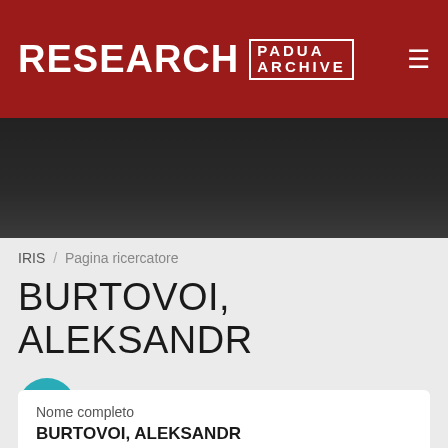[Figure (logo): Research Padua Archive logo on dark red header with hamburger menu icon]
[Figure (photo): Dark gradient banner below the header]
IRIS / Pagina ricercatore
BURTOVOI, ALEKSANDR
[Figure (other): Teal circular icon with a list/document symbol]
Nome completo
BURTOVOI, ALEKSANDR